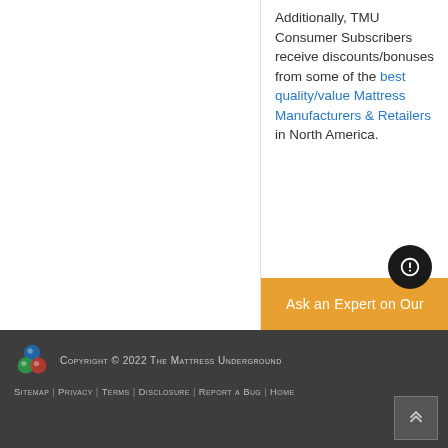Additionally, TMU Consumer Subscribers receive discounts/bonuses from some of the best quality/value Mattress Manufacturers & Retailers in North America.
Ask an Expert on Our
Copyright © 2022 The Mattress Underground
Sitemap | Privacy | Terms | Disclosure | Report a Bug | Home